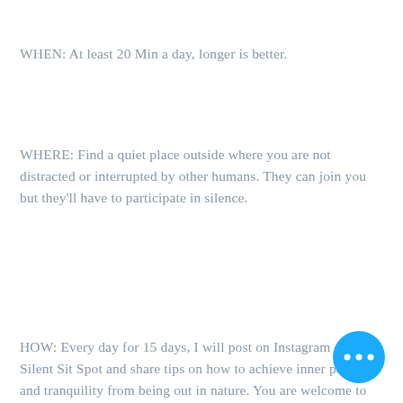WHEN: At least 20 Min a day, longer is better.
WHERE: Find a quiet place outside where you are not distracted or interrupted by other humans. They can join you but they'll have to participate in silence.
HOW: Every day for 15 days, I will post on Instagram of my Silent Sit Spot and share tips on how to achieve inner peace and tranquility from being out in nature. You are welcome to join!
[Figure (illustration): Blue circular button with three white dots (more options / ellipsis button) in the bottom right corner]